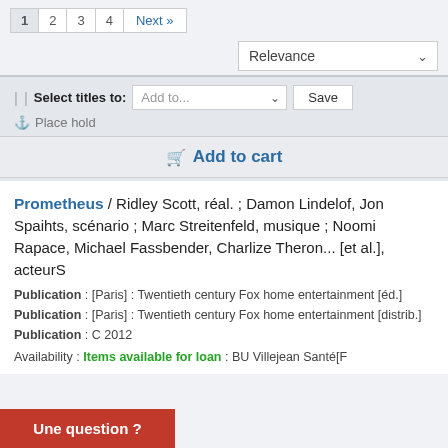Pagination: 1 2 3 4 Next »
Relevance (sort dropdown)
Select titles to: Add to... Save | Place hold
Add to cart
Prometheus / Ridley Scott, réal. ; Damon Lindelof, Jon Spaihts, scénario ; Marc Streitenfeld, musique ; Noomi Rapace, Michael Fassbender, Charlize Theron... [et al.], acteurS
Publication : [Paris] : Twentieth century Fox home entertainment [éd.]
Publication : [Paris] : Twentieth century Fox home entertainment [distrib.]
Publication : C 2012
Availability : Items available for loan : BU Villejean Santé[F
Une question ?